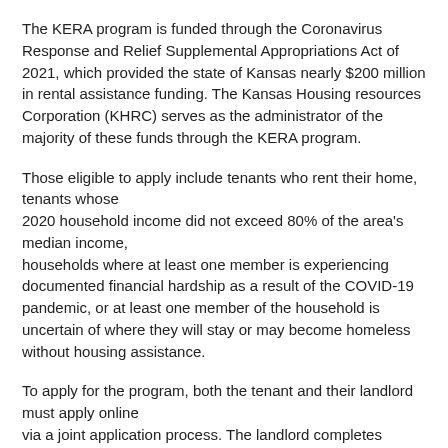The KERA program is funded through the Coronavirus Response and Relief Supplemental Appropriations Act of 2021, which provided the state of Kansas nearly $200 million in rental assistance funding. The Kansas Housing resources Corporation (KHRC) serves as the administrator of the majority of these funds through the KERA program.
Those eligible to apply include tenants who rent their home, tenants whose 2020 household income did not exceed 80% of the area's median income, households where at least one member is experiencing documented financial hardship as a result of the COVID-19 pandemic, or at least one member of the household is uncertain of where they will stay or may become homeless without housing assistance.
To apply for the program, both the tenant and their landlord must apply online via a joint application process. The landlord completes online certification and the tenant submits the online application. The landlord and tenant are then notified when the application is processed. If approved, the landlord and or/service provider receive funds directly from the Kansas Housing Resources Corporation (KHRC).